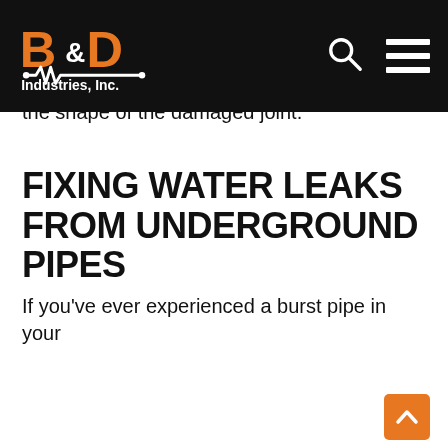B&D Industries, Inc.
plumber can permanently fix your leak is to use silicone tape to block leaking. Repair epoxy is another option and can mold to fit the shape of the damaged joint.
FIXING WATER LEAKS FROM UNDERGROUND PIPES
If you've ever experienced a burst pipe in your